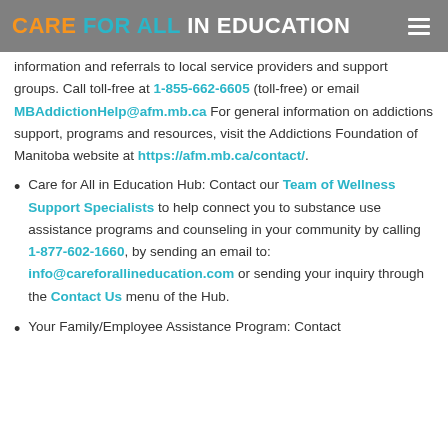CARE FOR ALL IN EDUCATION
information and referrals to local service providers and support groups. Call toll-free at 1-855-662-6605 (toll-free) or email MBAddictionHelp@afm.mb.ca For general information on addictions support, programs and resources, visit the Addictions Foundation of Manitoba website at https://afm.mb.ca/contact/.
Care for All in Education Hub: Contact our Team of Wellness Support Specialists to help connect you to substance use assistance programs and counseling in your community by calling 1-877-602-1660, by sending an email to: info@careforallineducation.com or sending your inquiry through the Contact Us menu of the Hub.
Your Family/Employee Assistance Program: Contact